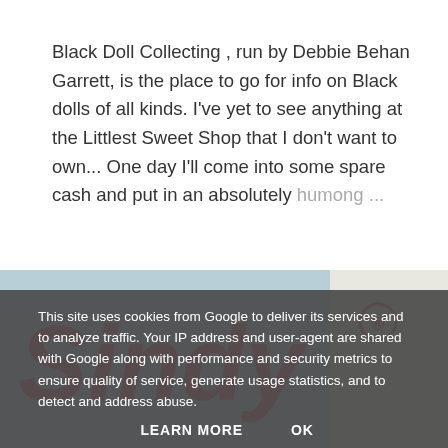Black Doll Collecting , run by Debbie Behan Garrett, is the place to go for info on Black dolls of all kinds. I've yet to see anything at the Littlest Sweet Shop that I don't want to own... One day I'll come into some spare cash and put in an absolutely humong…
SHARE   1 COMMENT   READ MORE
[Figure (photo): Sindy brand logo in pink cursive script with registered trademark symbol, alongside a partial image of a doll under a yellow umbrella on a light blue background]
This site uses cookies from Google to deliver its services and to analyze traffic. Your IP address and user-agent are shared with Google along with performance and security metrics to ensure quality of service, generate usage statistics, and to detect and address abuse.
LEARN MORE   OK